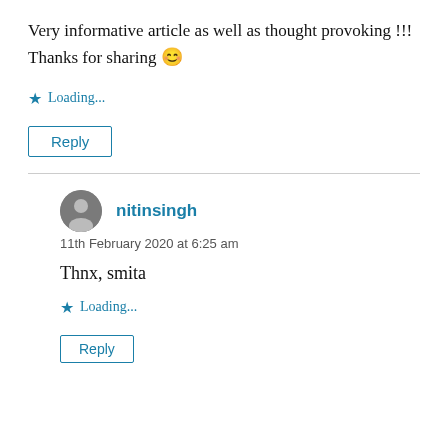Very informative article as well as thought provoking !!! Thanks for sharing 😊
★ Loading...
Reply
nitinsingh
11th February 2020 at 6:25 am
Thnx, smita
★ Loading...
Reply